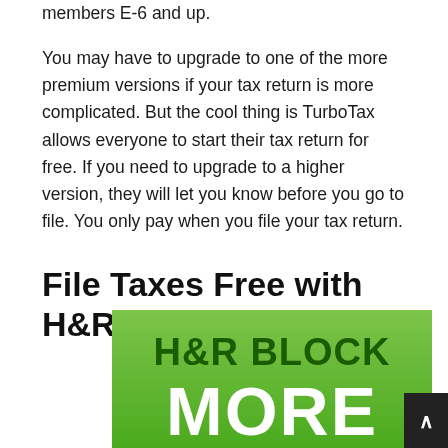members E-6 and up.
You may have to upgrade to one of the more premium versions if your tax return is more complicated. But the cool thing is TurboTax allows everyone to start their tax return for free. If you need to upgrade to a higher version, they will let you know before you go to file. You only pay when you file your tax return.
File Taxes Free with H&R Block
[Figure (logo): H&R Block advertisement banner with green gradient background showing 'H&R BLOCK MORE' text in bold white and dark green lettering]